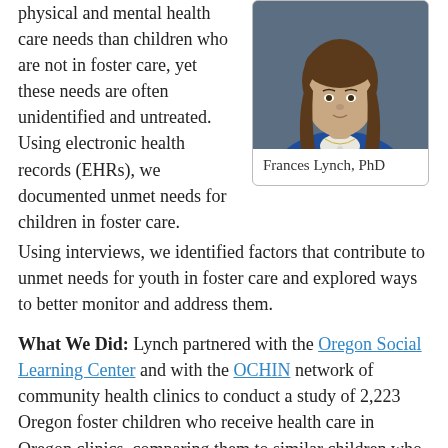physical and mental health care needs than children who are not in foster care, yet these needs are often unidentified and untreated. Using electronic health records (EHRs), we documented unmet needs for children in foster care. Using interviews, we identified factors that contribute to unmet needs for youth in foster care and explored ways to better monitor and address them.
[Figure (photo): Portrait photo of Frances Lynch, PhD — a woman with long brown hair wearing a blue top, photographed against a dark background.]
Frances Lynch, PhD
What We Did: Lynch partnered with the Oregon Social Learning Center and with the OCHIN network of community health clinics to conduct a study of 2,223 Oregon foster children who receive health care in Oregon clinics, comparing them to similar children who were not in foster care. We also